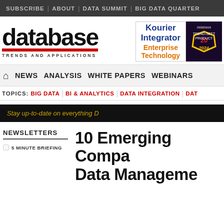SUBSCRIBE | ABOUT | DATA SUMMIT | BIG DATA QUARTER
[Figure (logo): database Trends and Applications logo with red underline]
[Figure (illustration): Kourier Integrator Enterprise Technology ad with badge]
NEWS | ANALYSIS | WHITE PAPERS | WEBINARS
TOPICS: BIG DATA | BI & ANALYTICS | DATA INTEGRATION | DAT
Stay up-to-date on everything D
NEWSLETTERS
5 MINUTE BRIEFING
10 Emerging Compa Data Manageme